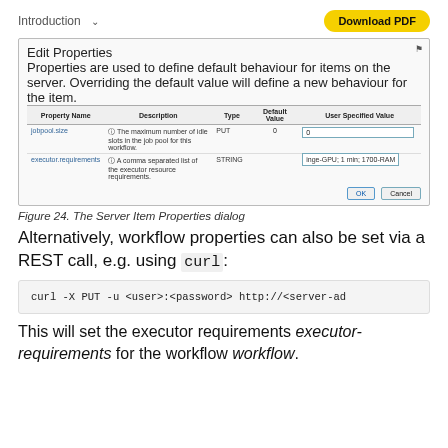Introduction  Download PDF
[Figure (screenshot): Edit Properties dialog showing a table with Property Name, Description, Type, Default Value, and User Specified Value columns. Two rows: jobpool.size (PUT type, default 0) and executor.requirements (STRING type, with value inge-GPU 1 min; 1700-RAM). OK and Cancel buttons at bottom right.]
Figure 24. The Server Item Properties dialog
Alternatively, workflow properties can also be set via a REST call, e.g. using curl:
curl -X PUT -u <user>:<password> http://<server-ad
This will set the executor requirements executor-requirements for the workflow workflow.